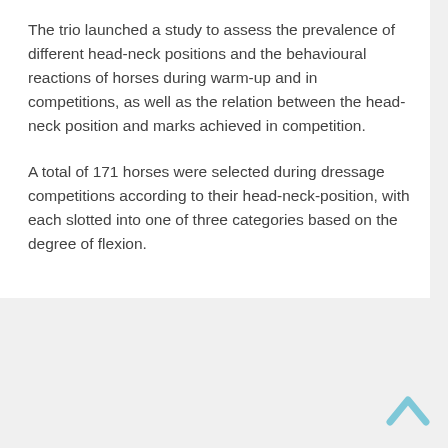The trio launched a study to assess the prevalence of different head-neck positions and the behavioural reactions of horses during warm-up and in competitions, as well as the relation between the head-neck position and marks achieved in competition.
A total of 171 horses were selected during dressage competitions according to their head-neck-position, with each slotted into one of three categories based on the degree of flexion.